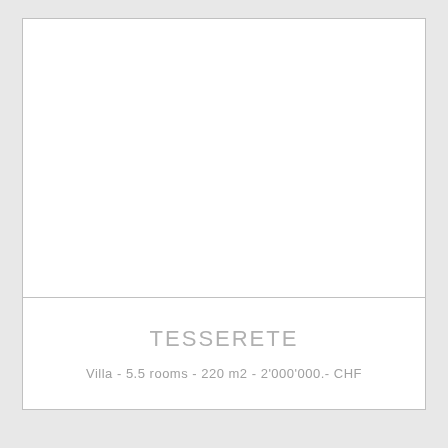[Figure (photo): Large white/blank image area representing a property photo placeholder for a villa in Tesserete]
TESSERETE
Villa - 5.5 rooms - 220 m2 - 2'000'000.- CHF